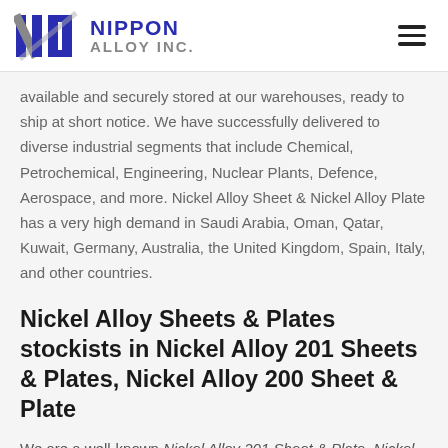[Figure (logo): Nippon Alloy Inc. logo with stylized NI monogram in blue and grey, company name in blue and grey text]
available and securely stored at our warehouses, ready to ship at short notice. We have successfully delivered to diverse industrial segments that include Chemical, Petrochemical, Engineering, Nuclear Plants, Defence, Aerospace, and more. Nickel Alloy Sheet & Nickel Alloy Plate has a very high demand in Saudi Arabia, Oman, Qatar, Kuwait, Germany, Australia, the United Kingdom, Spain, Italy, and other countries.
Nickel Alloy Sheets & Plates stockists in Nickel Alloy 201 Sheets & Plates, Nickel Alloy 200 Sheet & Plate
We are a well-known Nickel Alloy 201 Sheet & Plate, Nickel